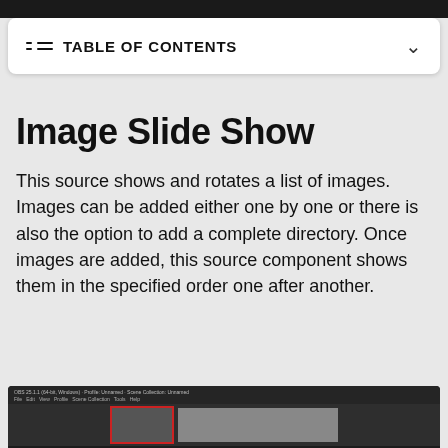TABLE OF CONTENTS
Image Slide Show
This source shows and rotates a list of images. Images can be added either one by one or there is also the option to add a complete directory. Once images are added, this source component shows them in the specified order one after another.
[Figure (screenshot): Screenshot of a software application (OBS or similar) showing a dark-themed window with titlebar and menu bar, with a red-bordered preview area showing an image.]